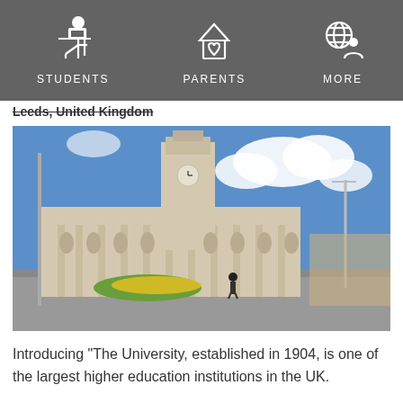STUDENTS   PARENTS   MORE
Leeds, United Kingdom
[Figure (photo): University of Leeds main building with clock tower, neoclassical architecture, blue sky with clouds, people and street in foreground]
Introducing "The University, established in 1904, is one of the largest higher education institutions in the UK.